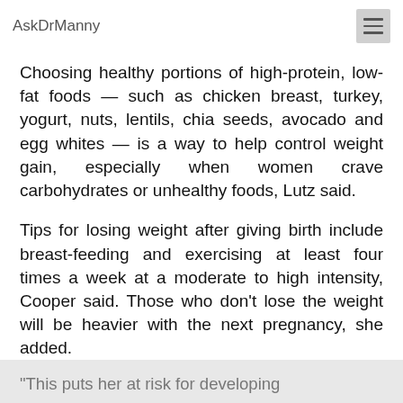AskDrManny
Choosing healthy portions of high-protein, low-fat foods — such as chicken breast, turkey, yogurt, nuts, lentils, chia seeds, avocado and egg whites — is a way to help control weight gain, especially when women crave carbohydrates or unhealthy foods, Lutz said.
Tips for losing weight after giving birth include breast-feeding and exercising at least four times a week at a moderate to high intensity, Cooper said. Those who don't lose the weight will be heavier with the next pregnancy, she added.
“This puts her at risk for developing